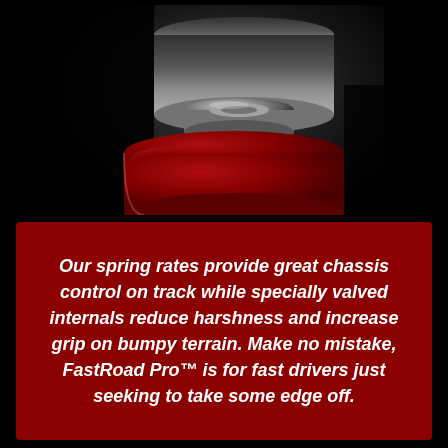[Figure (photo): Close-up macro photograph of a red automotive damper/shock absorber top with a silver metal nut/bearing visible on top, against a dark background. The red anodized aluminum component is prominent in the lower portion with dramatic lighting.]
Our spring rates provide great chassis control on track while specially valved internals reduce harshness and increase grip on bumpy terrain. Make no mistake, FastRoad Pro™ is for fast drivers just seeking to take some edge off.